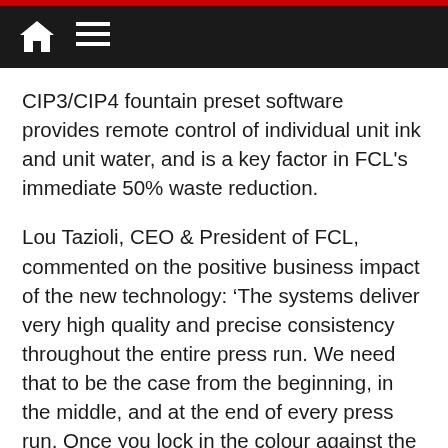navigation bar with home and menu icons
CIP3/CIP4 fountain preset software provides remote control of individual unit ink and unit water, and is a key factor in FCL's immediate 50% waste reduction.
Lou Tazioli, CEO & President of FCL, commented on the positive business impact of the new technology: ‘The systems deliver very high quality and precise consistency throughout the entire press run. We need that to be the case from the beginning, in the middle, and at the end of every press run. Once you lock in the colour against the proof, it holds colour very tightly. Our presses’ new capabilities give our sales organisation confidence that they can go after very demanding jobs and know that we can handle them. Those very demanding projects—such as a large catalogue job